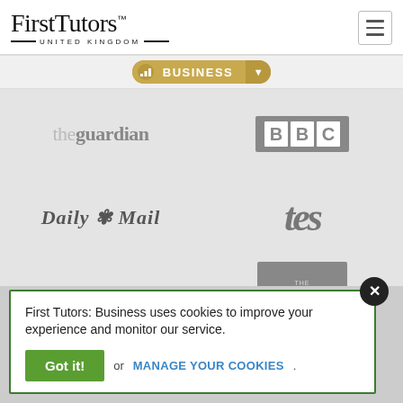[Figure (logo): First Tutors United Kingdom logo with serif logotype and two horizontal rules]
[Figure (screenshot): Navigation pill button showing BUSINESS with bar chart icon and dropdown arrow]
[Figure (logo): The Guardian logo in grey]
[Figure (logo): BBC logo in grey square boxes]
[Figure (logo): Daily Mail logo in gothic blackletter style]
[Figure (logo): TES logo in large italic serif font]
[Figure (logo): The Telegraph logo in gothic blackletter style]
[Figure (logo): The Good Schools Guide logo in grey box]
First Tutors: Business uses cookies to improve your experience and monitor our service.
Got it! or MANAGE YOUR COOKIES.